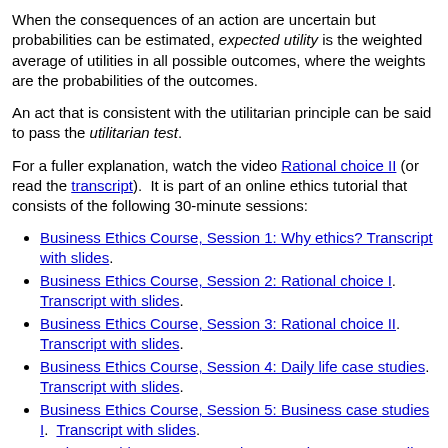When the consequences of an action are uncertain but probabilities can be estimated, expected utility is the weighted average of utilities in all possible outcomes, where the weights are the probabilities of the outcomes.
An act that is consistent with the utilitarian principle can be said to pass the utilitarian test.
For a fuller explanation, watch the video Rational choice II (or read the transcript).  It is part of an online ethics tutorial that consists of the following 30-minute sessions:
Business Ethics Course, Session 1: Why ethics? Transcript with slides.
Business Ethics Course, Session 2: Rational choice I. Transcript with slides.
Business Ethics Course, Session 3: Rational choice II. Transcript with slides.
Business Ethics Course, Session 4: Daily life case studies. Transcript with slides.
Business Ethics Course, Session 5: Business case studies I. Transcript with slides.
Business Ethics Course, Session 6: Business case studies II. Transcript with slides.